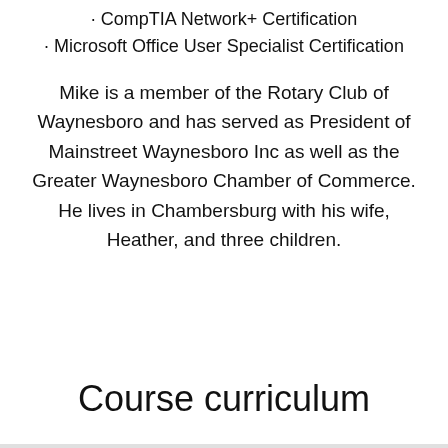• CompTIA Network+ Certification
• Microsoft Office User Specialist Certification
Mike is a member of the Rotary Club of Waynesboro and has served as President of Mainstreet Waynesboro Inc as well as the Greater Waynesboro Chamber of Commerce. He lives in Chambersburg with his wife, Heather, and three children.
Course curriculum